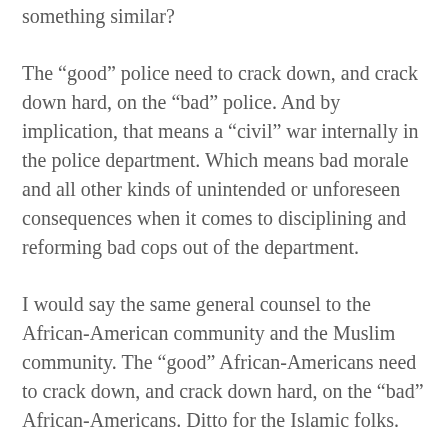something similar?
The “good” police need to crack down, and crack down hard, on the “bad” police. And by implication, that means a “civil” war internally in the police department. Which means bad morale and all other kinds of unintended or unforeseen consequences when it comes to disciplining and reforming bad cops out of the department.
I would say the same general counsel to the African-American community and the Muslim community. The “good” African-Americans need to crack down, and crack down hard, on the “bad” African-Americans. Ditto for the Islamic folks.
And if they can’t handle it internally, that’s when external forces and pressure is applied.
And when there is no internal or external discipline, then the cowards need to stop whining. No one’s stepping up. It is what it is.